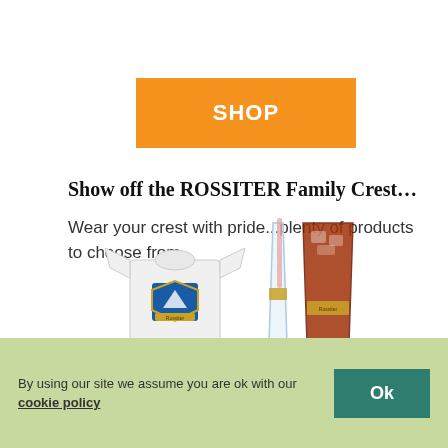SHOP
Show off the ROSSITER Family Crest…
Wear your crest with pride...plenty of products to choose from
[Figure (photo): Product images showing a baby onesie with family crest and two drinking glasses with family crest]
By using our site we assume you are ok with our cookie policy  Ok